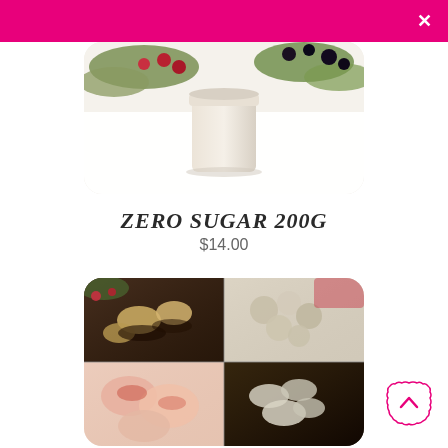[Figure (photo): Top portion of a product photo showing a white candle jar surrounded by holly berries, pine branches, and dark cherries on a white background, with rounded corners.]
ZERO SUGAR 200G
$14.00
[Figure (photo): A photo of assorted zero-sugar cookies and sweets arranged in a 4-quadrant tray with dark chocolate cups with walnut toppings, plain round cookies, pink/red decorated cookies, and almond-topped chocolate cookies.]